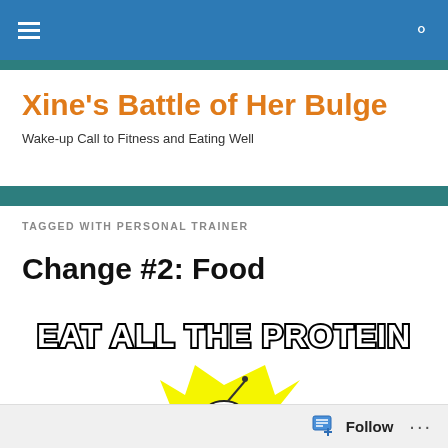Navigation header with hamburger menu and search icon
Xine's Battle of Her Bulge
Wake-up Call to Fitness and Eating Well
TAGGED WITH PERSONAL TRAINER
Change #2: Food
[Figure (illustration): Meme image with bold black outlined text 'EAT ALL THE PROTEIN' above a cartoon character with yellow spiky explosion background]
Follow ...